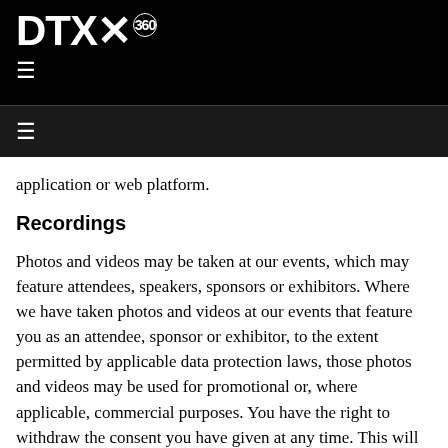DTX360 [logo with hamburger menu navigation]
application or web platform.
Recordings
Photos and videos may be taken at our events, which may feature attendees, speakers, sponsors or exhibitors. Where we have taken photos and videos at our events that feature you as an attendee, sponsor or exhibitor, to the extent permitted by applicable data protection laws, those photos and videos may be used for promotional or, where applicable, commercial purposes. You have the right to withdraw the consent you have given at any time. This will not affect the